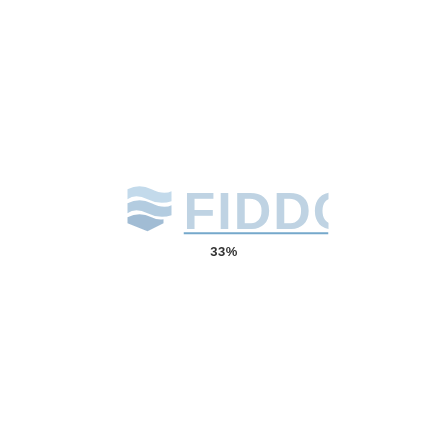[Figure (logo): FIDDO company logo with wave/flag icon to the left of the text 'FIDDO' in light blue, with '33%' text below]
33%